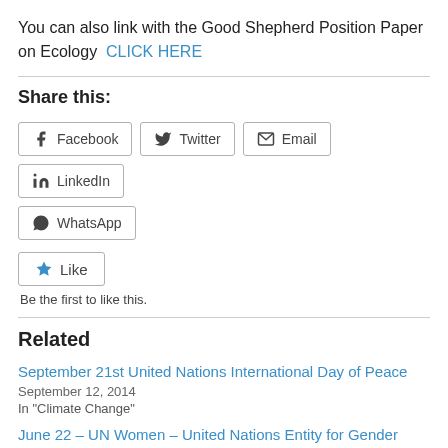You can also link with the Good Shepherd Position Paper on Ecology  CLICK HERE
Share this:
[Figure (other): Social share buttons: Facebook, Twitter, Email, LinkedIn, WhatsApp]
[Figure (other): Like button with star icon]
Be the first to like this.
Related
September 21st United Nations International Day of Peace
September 12, 2014
In "Climate Change"
June 22 – UN Women – United Nations Entity for Gender